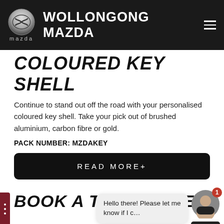WOLLONGONG MAZDA
COLOURED KEY SHELL
Continue to stand out off the road with your personalised coloured key shell. Take your pick out of brushed aluminium, carbon fibre or gold.
PACK NUMBER: MZDAKEY
READ MORE+
BOOK A TEST DRIVE
DOWNLOAD A BROCHURE